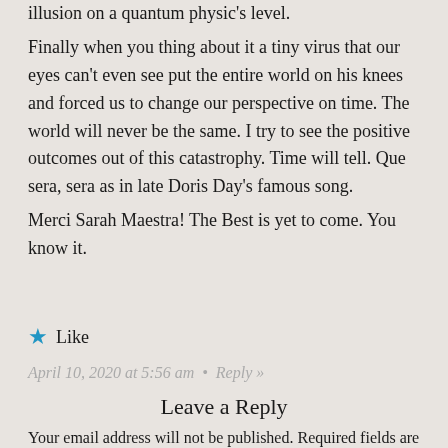illusion on a quantum physic's level.
Finally when you thing about it a tiny virus that our eyes can't even see put the entire world on his knees and forced us to change our perspective on time. The world will never be the same. I try to see the positive outcomes out of this catastrophy. Time will tell. Que sera, sera as in late Doris Day's famous song.
Merci Sarah Maestra! The Best is yet to come. You know it.
★ Like
April 10, 2020 at 5:56 am  •  Reply »
Leave a Reply
Your email address will not be published. Required fields are marked *